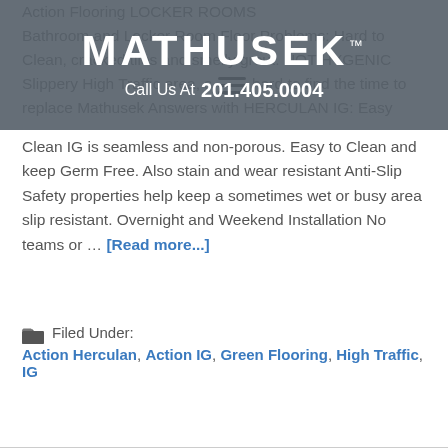[Figure (screenshot): Website header overlay with MATHUSEK logo and phone number Call Us At 201.405.0004 on dark semi-transparent background]
Action Flooring LOCKER ROOMS Bathroom and Locker Room Floor Problems: Hard to Clean, cracked tiles and smelly grout. NOT HYGENIC Slippery High Traffic area, so hard to find the time to replace Mathusek Answers with HERCULAN IG: Easy Clean IG is seamless and non-porous. Easy to Clean and keep Germ Free. Also stain and wear resistant Anti-Slip Safety properties help keep a sometimes wet or busy area slip resistant. Overnight and Weekend Installation No teams or … [Read more...]
Filed Under: Action Herculan, Action IG, Green Flooring, High Traffic, IG